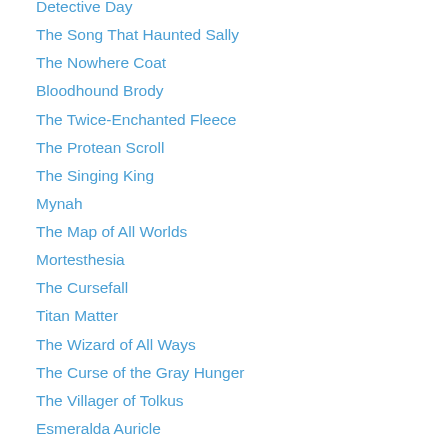Detective Day
The Song That Haunted Sally
The Nowhere Coat
Bloodhound Brody
The Twice-Enchanted Fleece
The Protean Scroll
The Singing King
Mynah
The Map of All Worlds
Mortesthesia
The Cursefall
Titan Matter
The Wizard of All Ways
The Curse of the Gray Hunger
The Villager of Tolkus
Esmeralda Auricle
Oddness and the Rose Pox
The Temple of the Gentle
The Accountant of Breaths
The Never Challenge
Betty Betty